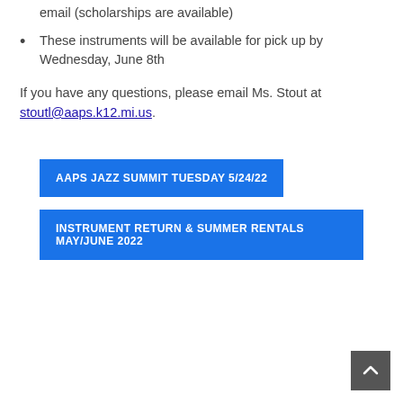email (scholarships are available)
These instruments will be available for pick up by Wednesday, June 8th
If you have any questions, please email Ms. Stout at stoutl@aaps.k12.mi.us.
AAPS JAZZ SUMMIT TUESDAY 5/24/22
INSTRUMENT RETURN & SUMMER RENTALS MAY/JUNE 2022